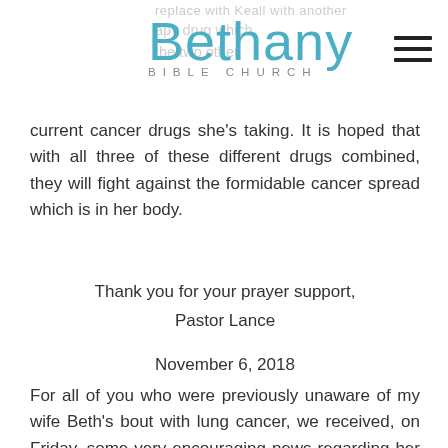Bethany BIBLE CHURCH
current cancer drugs she’s taking. It is hoped that with all three of these different drugs combined, they will fight against the formidable cancer spread which is in her body.
Thank you for your prayer support,
Pastor Lance
November 6, 2018
For all of you who were previously unaware of my wife Beth’s bout with lung cancer, we received, on Friday, some very encouraging news regarding her scan results. The treatment regimen she’s currently on is proving quite effective in keeping